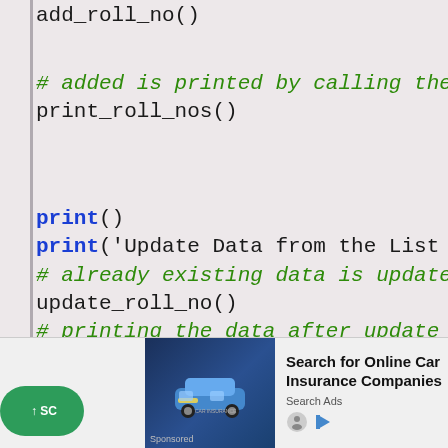add_roll_no()
# added is printed by calling the print_roll_nos fu
print_roll_nos()
print()
print('Update Data from the List Object::')
# already existing data is updated to by calling t
update_roll_no()
# printing the data after update operation by ca
print('The Result after updating the List Object::
print_roll_nos()
[Figure (screenshot): Online Car Insurance Companies advertisement banner with image of car insurance and sponsored label]